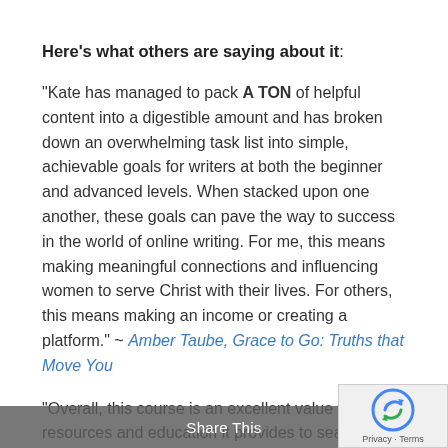Here's what others are saying about it:
“Kate has managed to pack A TON of helpful content into a digestible amount and has broken down an overwhelming task list into simple, achievable goals for writers at both the beginner and advanced levels. When stacked upon one another, these goals can pave the way to success in the world of online writing. For me, this means making meaningful connections and influencing women to serve Christ with their lives. For others, this means making an income or creating a platform.” ~ Amber Taube, Grace to Go: Truths that Move You
“Overall, this course is an excellent value for the resources and education it provides to seasoned writers and those who have minimal experience. While the course was designed primarily for writers whose